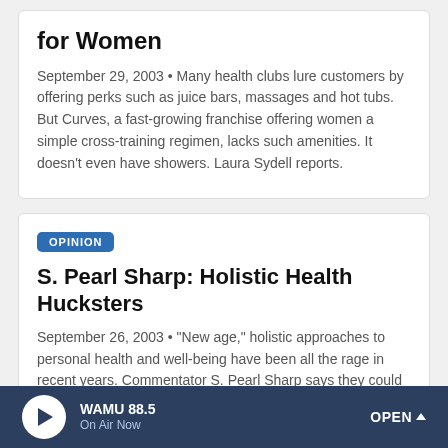for Women
September 29, 2003 • Many health clubs lure customers by offering perks such as juice bars, massages and hot tubs. But Curves, a fast-growing franchise offering women a simple cross-training regimen, lacks such amenities. It doesn't even have showers. Laura Sydell reports.
OPINION
S. Pearl Sharp: Holistic Health Hucksters
September 26, 2003 • "New age," holistic approaches to personal health and well-being have been all the rage in recent years. Commentator S. Pearl Sharp says they could be more than you bargained for.
WAMU 88.5 On Air Now OPEN